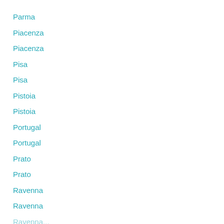Parma
Piacenza
Piacenza
Pisa
Pisa
Pistoia
Pistoia
Portugal
Portugal
Prato
Prato
Ravenna
Ravenna
Ravenna...